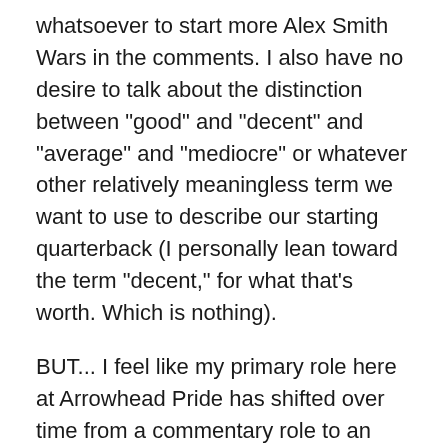whatsoever to start more Alex Smith Wars in the comments. I also have no desire to talk about the distinction between "good" and "decent" and "average" and "mediocre" or whatever other relatively meaningless term we want to use to describe our starting quarterback (I personally lean toward the term "decent," for what that's worth. Which is nothing).
BUT... I feel like my primary role here at Arrowhead Pride has shifted over time from a commentary role to an informational role. I still love making borderline humorous remarks and sidetracking in parenthesis dozens of times per article, but more and more my job has been to try and provide as much information as possible about what is going on when the Chiefs take the field.